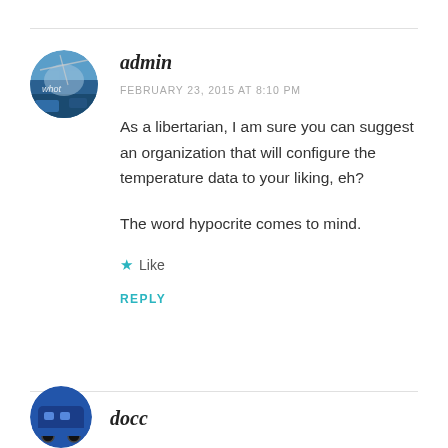[Figure (illustration): Circular avatar image showing a winter/blue landscape scene with text 'whot']
admin
FEBRUARY 23, 2015 AT 8:10 PM
As a libertarian, I am sure you can suggest an organization that will configure the temperature data to your liking, eh?
The word hypocrite comes to mind.
★ Like
REPLY
[Figure (illustration): Circular avatar showing a blue bus/vehicle icon]
docc